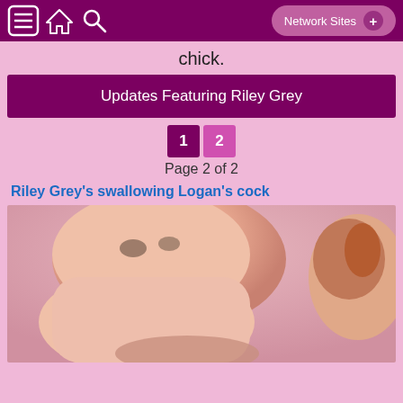Navigation bar with menu, home, search icons and Network Sites button
chick.
Updates Featuring Riley Grey
1 2
Page 2 of 2
Riley Grey's swallowing Logan's cock
[Figure (photo): Thumbnail photo]